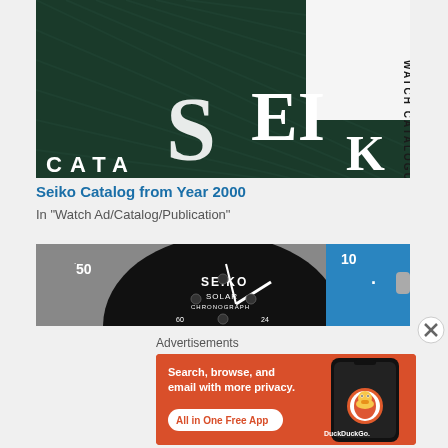[Figure (photo): Close-up photo of a Seiko Watch Catalogue 2000 book cover, dark green with white SEIKO lettering and 'WATCH CATALOGUE 2' text visible on the spine]
Seiko Catalog from Year 2000
In "Watch Ad/Catalog/Publication"
[Figure (photo): Close-up photo of a Seiko Solar Chronograph watch face with black dial, blue bezel, and silver hands]
Advertisements
[Figure (other): DuckDuckGo advertisement banner with orange background, text 'Search, browse, and email with more privacy. All in One Free App' with DuckDuckGo logo and phone mockup]